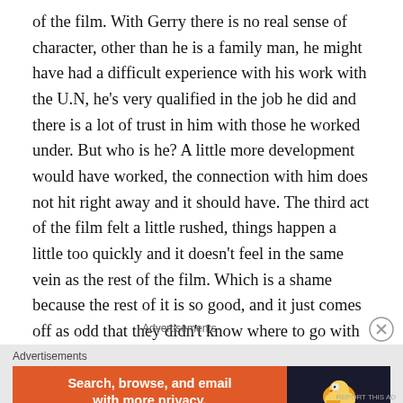of the film. With Gerry there is no real sense of character, other than he is a family man, he might have had a difficult experience with his work with the U.N, he's very qualified in the job he did and there is a lot of trust in him with those he worked under. But who is he? A little more development would have worked, the connection with him does not hit right away and it should have. The third act of the film felt a little rushed, things happen a little too quickly and it doesn't feel in the same vein as the rest of the film. Which is a shame because the rest of it is so good, and it just comes off as odd that they didn't know where to go with it once it reached a certain point.
Advertisements
Advertisements
[Figure (other): DuckDuckGo advertisement banner with orange left section reading 'Search, browse, and email with more privacy. All in One Free App' and dark right section with DuckDuckGo duck logo and brand name.]